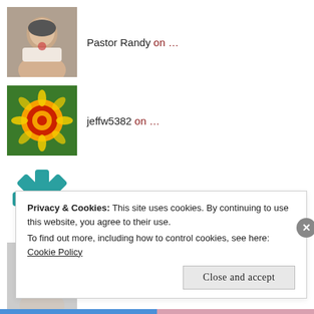Pastor Randy on …
jeffw5382 on …
Robert Kersten on …
Michael Wilson on …
Pastor Randy on WHEN YOU FEEL LIKE QUITTING!
Privacy & Cookies: This site uses cookies. By continuing to use this website, you agree to their use.
To find out more, including how to control cookies, see here: Cookie Policy
Close and accept